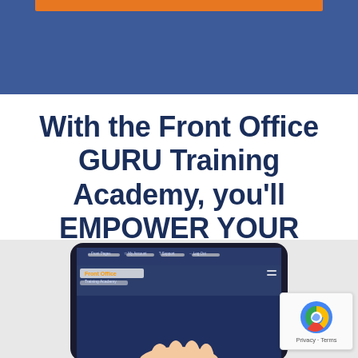With the Front Office GURU Training Academy, you'll EMPOWER YOUR FRONT DESK to:
[Figure (screenshot): Screenshot of the Front Office GURU Training Academy website displayed on a tablet/iPad device held by a person's hand. The screen shows a navigation bar with links and the Front Office GURU Training Academy logo.]
[Figure (other): Google reCAPTCHA badge in the bottom right corner with the reCAPTCHA logo and text 'Privacy - Terms']